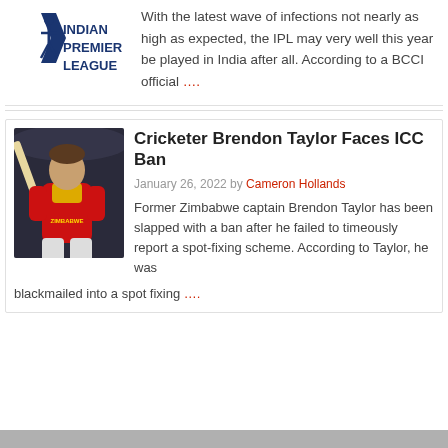[Figure (logo): IPL Indian Premier League logo in blue]
With the latest wave of infections not nearly as high as expected, the IPL may very well this year be played in India after all. According to a BCCI official ….
[Figure (photo): Brendon Taylor cricketer in Zimbabwe red jersey holding a bat]
Cricketer Brendon Taylor Faces ICC Ban
January 26, 2022 by Cameron Hollands
Former Zimbabwe captain Brendon Taylor has been slapped with a ban after he failed to timeously report a spot-fixing scheme. According to Taylor, he was blackmailed into a spot fixing ….